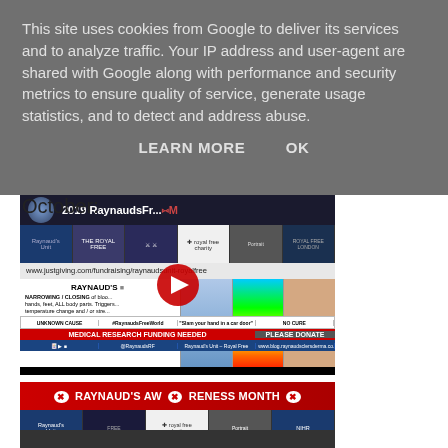This site uses cookies from Google to deliver its services and to analyze traffic. Your IP address and user-agent are shared with Google along with performance and security metrics to ensure quality of service, generate usage statistics, and to detect and address abuse.
LEARN MORE     OK
[Figure (screenshot): YouTube video thumbnail for '2019 RaynaudsFr...' showing Raynaud's disease awareness content with play button, justgiving.com URL, and MEDICAL RESEARCH FUNDING NEEDED banner]
October:
[Figure (screenshot): YouTube video thumbnail showing 'RAYNAUD'S AWARENESS MONTH' banner in red with Royal Free charity logo and NIHR logo]